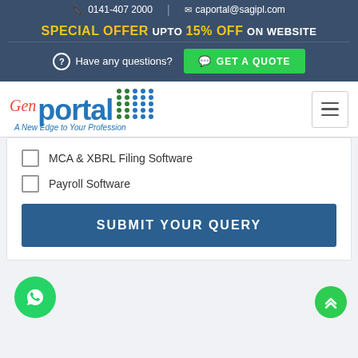0141-407 2000 | caportal@sagipl.com
SPECIAL OFFER UPTO 15% OFF ON WEBSITE
Have any questions? GET A QUOTE
[Figure (logo): Gen portal logo with tagline 'A New Edge to Your Profession']
MCA & XBRL Filing Software
Payroll Software
SUBMIT YOUR QUERY
[Figure (illustration): WhatsApp floating button (green circle with phone handset icon)]
[Figure (illustration): Scroll to top button (green circle with upward chevrons)]